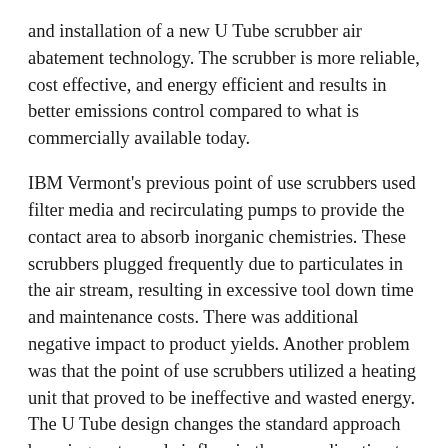and installation of a new U Tube scrubber air abatement technology. The scrubber is more reliable, cost effective, and energy efficient and results in better emissions control compared to what is commercially available today.
IBM Vermont's previous point of use scrubbers used filter media and recirculating pumps to provide the contact area to absorb inorganic chemistries. These scrubbers plugged frequently due to particulates in the air stream, resulting in excessive tool down time and maintenance costs. There was additional negative impact to product yields. Another problem was that the point of use scrubbers utilized a heating unit that proved to be ineffective and wasted energy. The U Tube design changes the standard approach by using water and air flow in the same direction to remove the majority of air contaminants in the first stage. The second stage (or polishing step) uses a more